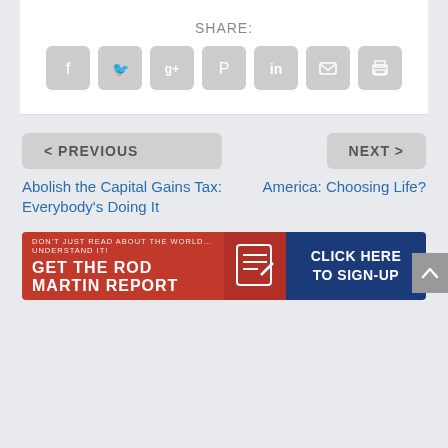SHARE:
[Figure (other): Social share buttons: Facebook, Twitter, Google+, Pinterest, LinkedIn, Email, Print]
< PREVIOUS
Abolish the Capital Gains Tax: Everybody's Doing It
NEXT >
America: Choosing Life?
[Figure (other): Banner ad: DON'T JUST READ ABOUT THE WORLD… UNDERSTAND IT! GET THE ROD MARTIN REPORT — CLICK HERE TO SIGN-UP]